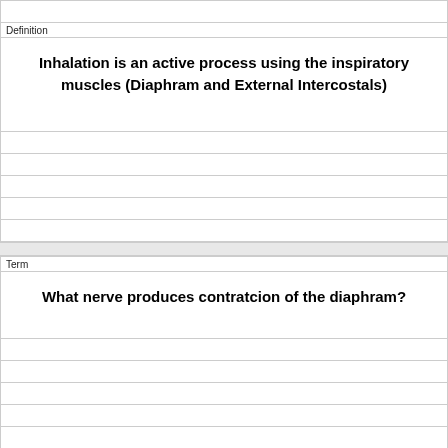Definition
Inhalation is an active process using the inspiratory muscles (Diaphram and External Intercostals)
Term
What nerve produces contratcion of the diaphram?